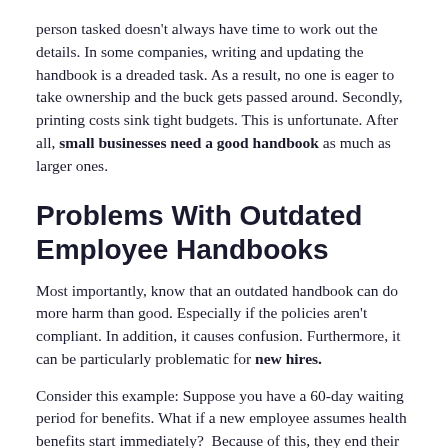person tasked doesn't always have time to work out the details. In some companies, writing and updating the handbook is a dreaded task. As a result, no one is eager to take ownership and the buck gets passed around. Secondly, printing costs sink tight budgets. This is unfortunate. After all, small businesses need a good handbook as much as larger ones.
Problems With Outdated Employee Handbooks
Most importantly, know that an outdated handbook can do more harm than good. Especially if the policies aren't compliant. In addition, it causes confusion. Furthermore, it can be particularly problematic for new hires.
Consider this example: Suppose you have a 60-day waiting period for benefits. What if a new employee assumes health benefits start immediately?  Because of this, they end their previous coverage before they are eligible. Then they have a major medical expense. You